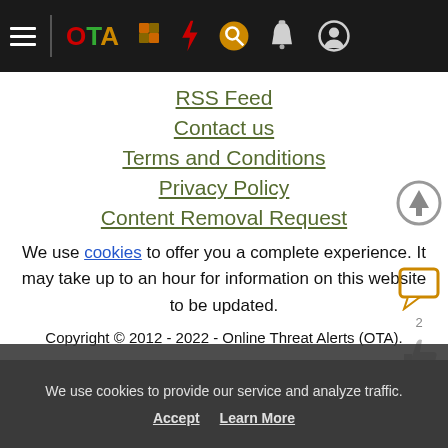OTA navigation bar with hamburger menu, OTA logo, and icons
RSS Feed
Contact us
Terms and Conditions
Privacy Policy
Content Removal Request
We use cookies to offer you a complete experience. It may take up to an hour for information on this website to be updated.
Copyright © 2012 - 2022 - Online Threat Alerts (OTA).
We use cookies to provide our service and analyze traffic. Accept  Learn More